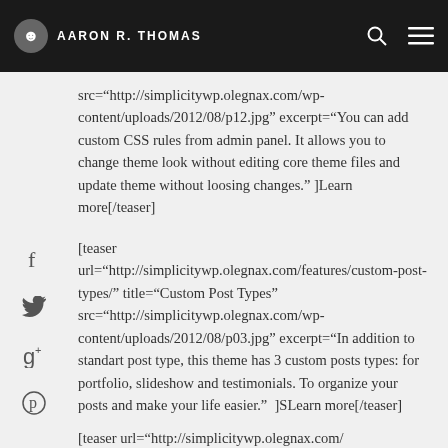AARON R. THOMAS
src="http://simplicitywp.olegnax.com/wp-content/uploads/2012/08/p12.jpg" excerpt="You can add custom CSS rules from admin panel. It allows you to change theme look without editing core theme files and update theme without loosing changes." ]Learn more[/teaser]
[teaser url="http://simplicitywp.olegnax.com/features/custom-post-types/" title="Custom Post Types" src="http://simplicitywp.olegnax.com/wp-content/uploads/2012/08/p03.jpg" excerpt="In addition to standart post type, this theme has 3 custom posts types: for portfolio, slideshow and testimonials. To organize your posts and make your life easier." ]SLearn more[/teaser]
[teaser url="http://simplicitywp.olegnax.com/